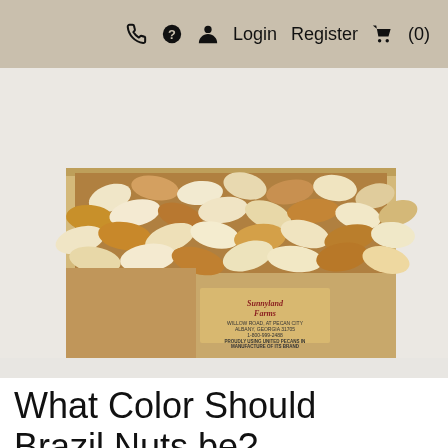☎ ? 👤 Login  Register 🛒 (0)
[Figure (photo): A cardboard box filled with Brazil nuts (cream/ivory colored shelled nuts), with a Sunnyland Farms label visible on the front of the box. The box is sitting on a white surface.]
What Color Should Brazil Nuts be?
Brazil nuts should be creamy in color. With some brands and types of Brazil Nuts that aren't as fresh.